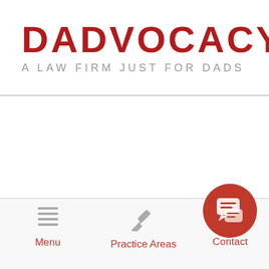[Figure (logo): DADvocacy law firm logo: large red bold text 'DADvocacy' with TM mark, subtitle 'A Law Firm Just For Dads' in gray spaced lettering]
Menu | Practice Areas | Contact
[Figure (illustration): Red circular chat/contact button in bottom right corner with speech bubble icon]